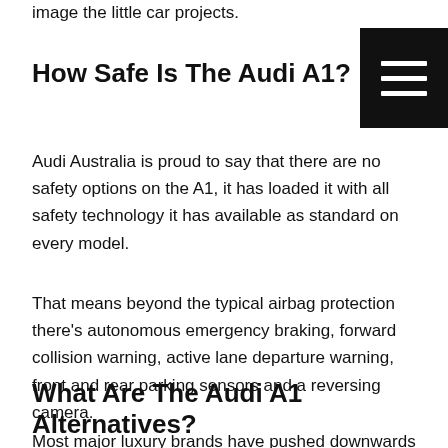image the little car projects.
How Safe Is The Audi A1?
Audi Australia is proud to say that there are no safety options on the A1, it has loaded it with all safety technology it has available as standard on every model.
That means beyond the typical airbag protection there’s autonomous emergency braking, forward collision warning, active lane departure warning, front and rear parking sensors and a reversing camera.
What Are The Audi A1 Alternatives?
Most major luxury brands have pushed downwards